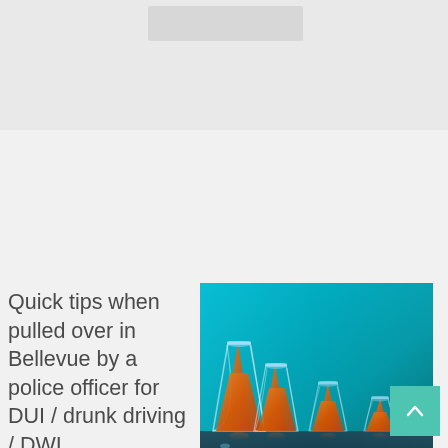[Figure (photo): Blurred/faded image at top of page, partially visible]
Quick tips when pulled over in Bellevue by a police officer for DUI / drunk driving / DWI...
[Figure (photo): Photo of four shot glasses filled with amber liquid (whiskey/spirits) arranged in descending size order against a blue background]
DUI / Drunk Driving / DWI Quick Tips – Seattle DUI and Defense Lawyer